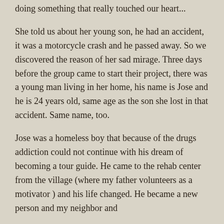doing something that really touched our heart...
She told us about her young son, he had an accident, it was a motorcycle crash and he passed away. So we discovered the reason of her sad mirage. Three days before the group came to start their project, there was a young man living in her home, his name is Jose and he is 24 years old, same age as the son she lost in that accident. Same name, too.
Jose was a homeless boy that because of the drugs addiction could not continue with his dream of becoming a tour guide. He came to the rehab center from the village (where my father volunteers as a motivator ) and his life changed. He became a new person and my neighbor and